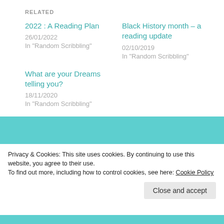RELATED
2022 : A Reading Plan
26/01/2022
In "Random Scribbling"
Black History month – a reading update
02/10/2019
In "Random Scribbling"
What are your Dreams telling you?
18/11/2020
In "Random Scribbling"
Privacy & Cookies: This site uses cookies. By continuing to use this website, you agree to their use.
To find out more, including how to control cookies, see here: Cookie Policy
Close and accept